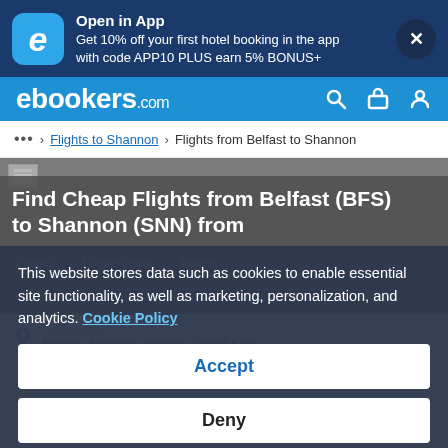[Figure (screenshot): Top app promotion banner with ebookers logo, offer text, and close button]
ebookers.com
... > Flights to Shannon > Flights from Belfast to Shannon
Find Cheap Flights from Belfast (BFS) to Shannon (SNN) from
This website stores data such as cookies to enable essential site functionality, as well as marketing, personalization, and analytics. Cookie Policy
Accept
Deny
Flights   Flight+Hotel   Hotels
Return   One-way   Multi-city
Leaving from
Belfast, Northern Ireland, United Kingdom